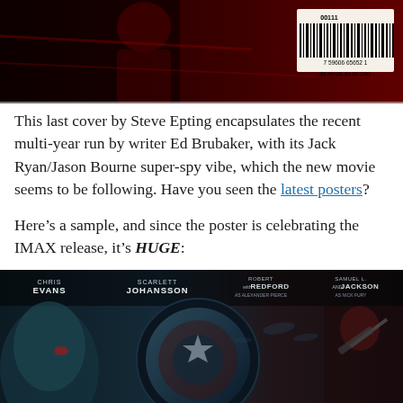[Figure (photo): Top portion of a comic book back cover with dark red/black toned image showing a figure, with a UPC barcode visible in the upper right corner showing price $3.99 US $4.25 CAN]
This last cover by Steve Epting encapsulates the recent multi-year run by writer Ed Brubaker, with its Jack Ryan/Jason Bourne super-spy vibe, which the new movie seems to be following. Have you seen the latest posters?
Here’s a sample, and since the poster is celebrating the IMAX release, it’s HUGE:
[Figure (photo): Bottom portion of a Captain America: The Winter Soldier IMAX movie poster featuring dark teal/red tones. Cast names listed across the top: CHRIS EVANS, SCARLETT JOHANSSON, with ROBERT REDFORD, and SAMUEL L. JACKSON as Nick Fury. Shows a large Captain America shield in center, a figure on left side, and a soldier with a weapon on the right.]